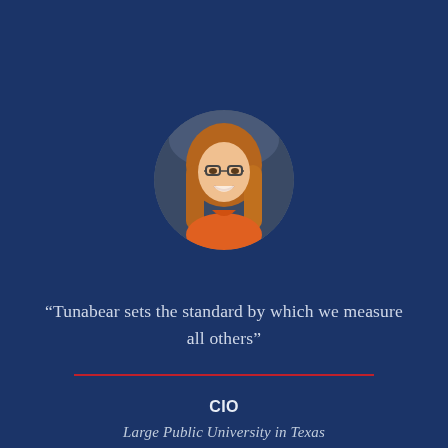[Figure (photo): Circular portrait photo of a smiling young woman with long reddish-brown hair and glasses, wearing an orange top, against a blurred background.]
“Tunabear sets the standard by which we measure all others”
CIO
Large Public University in Texas